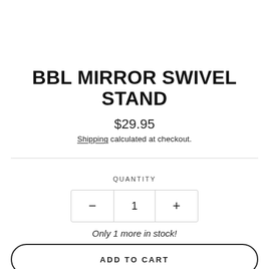BBL MIRROR SWIVEL STAND
$29.95
Shipping calculated at checkout.
QUANTITY
- 1 +
Only 1 more in stock!
ADD TO CART